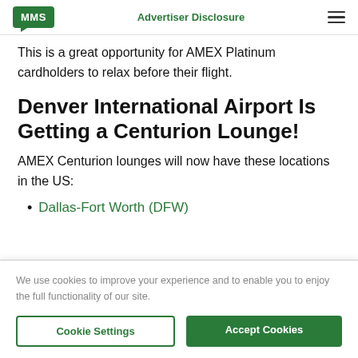MMS | Advertiser Disclosure
This is a great opportunity for AMEX Platinum cardholders to relax before their flight.
Denver International Airport Is Getting a Centurion Lounge!
AMEX Centurion lounges will now have these locations in the US:
Dallas-Fort Worth (DFW)
We use cookies to improve your experience and to enable you to enjoy the full functionality of our site.